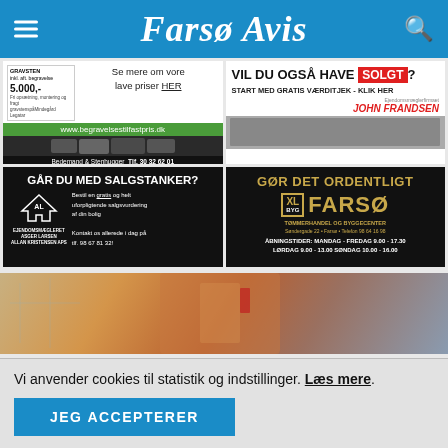Farsø Avis
[Figure (illustration): Ad for Becemand & Stenhugger - begravelsestilfastpris.dk, gravsten 5.000,-, Tlf. 30 32 62 01]
[Figure (illustration): Ad: VIL DU OGSÅ HAVE SOLGT? START MED GRATIS VÆRDITJEK - KLIK HER. John Frandsen Ejendomsmæglerfirmaet]
[Figure (illustration): Ad: GÅR DU MED SALGSTANKER? Bestil en gratis og helt uforpligtende salgsvurdering af din bolig. Asger Larsen Allan Kristensen APS. Kontakt os allerede i dag på tlf. 98 67 81 32!]
[Figure (illustration): Ad: GØR DET ORDENTLIGT. XL BYG FARSØ TØMMERHANDEL OG BYGGECENTER. Søndergade 22 • Farsø • Telefon 98 64 16 98. ÅBNINGSTIDER: MANDAG - FREDAG 9.00 - 17.30 LØRDAG 9.00 - 13.00 SØNDAG 10.00 - 16.00]
[Figure (photo): Photo of a person's hands with a measuring tool and blueprints]
Vi anvender cookies til statistik og indstillinger. Læs mere.
JEG ACCEPTERER